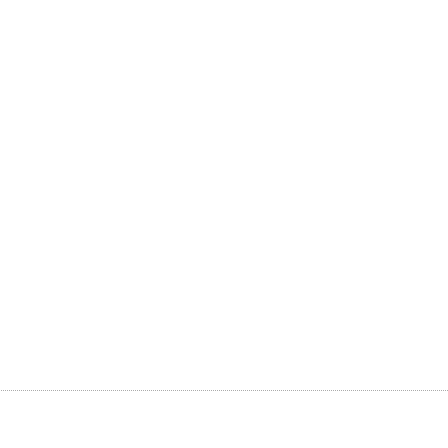women via emails and calls. UKRAINIANBRIDE.W-RUS.C Die Profile der 10.000 Pracht ukrainischen Madchen mit Fo neue Braute pro Woche. Setzen Sie Sich mit Schonen und ukrainischen Frauen ube Verbindung. Auf UKRAINIAN Les profils de 10 000 Filles ru Splendides avec les photos e nouvelles jeunes mariees pa Contactez de Belles Femmes Simples via les courriers elec Sur UKRAINIANBRIDE.W-RU Los perfiles de las 10 000 Mu ucranianas Magnificas con fo nuevas novias por semana. Pongase en Contacto con Mu ucranianas Solas Hermosas y llamadas. En UKRAINIANBRIDE
Posted by: Julija1987 | August 22,